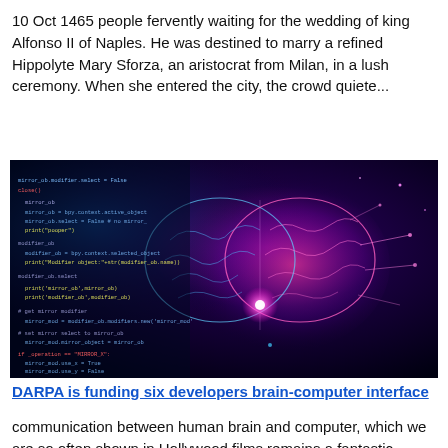10 Oct 1465 people fervently waiting for the wedding of king Alfonso II of Naples. He was destined to marry a refined Hippolyte Mary Sforza, an aristocrat from Milan, in a lush ceremony. When she entered the city, the crowd quiete...
[Figure (photo): Digital composite image of a glowing human brain with circuit-board-like connections on the right side (pink/magenta tones) and code text overlay on the left side (dark blue/teal tones), representing brain-computer interface technology.]
DARPA is funding six developers brain-computer interface
communication between human brain and computer, which we are so often shown in Hollywood films remains a fantastic concept. But some large companies are keen to implement a similar interface to reality.